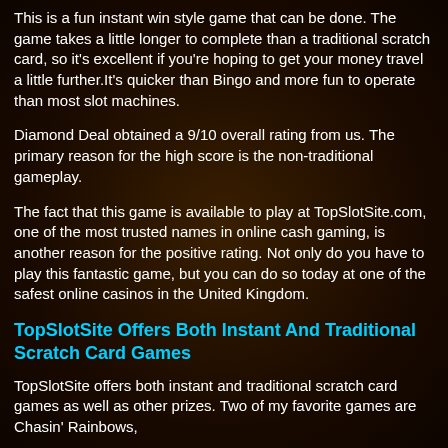This is a fun instant win style game that can be done. The game takes a little longer to complete than a traditional scratch card, so it's excellent if you're hoping to get your money travel a little further.It's quicker than Bingo and more fun to operate than most slot machines.
Diamond Deal obtained a 9/10 overall rating from us. The primary reason for the high score is the non-traditional gameplay.
The fact that this game is available to play at TopSlotSite.com, one of the most trusted names in online cash gaming, is another reason for the positive rating. Not only do you have to play this fantastic game, but you can do so today at one of the safest online casinos in the United Kingdom.
TopSlotSite Offers Both Instant And Traditional Scratch Card Games
TopSlotSite offers both instant and traditional scratch card games as well as other prizes. Two of my favorite games are Chasin' Rainbows,